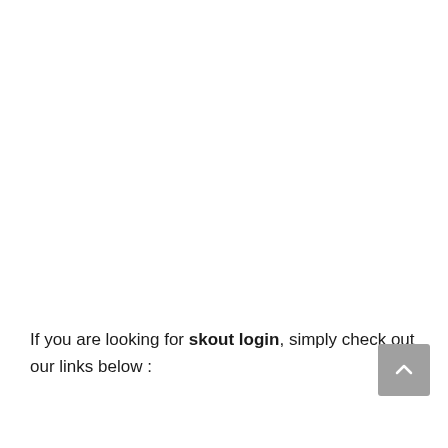If you are looking for skout login, simply check out our links below :